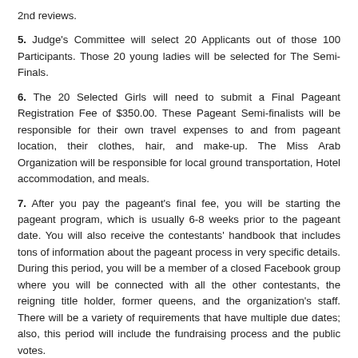2nd reviews.
5. Judge's Committee will select 20 Applicants out of those 100 Participants. Those 20 young ladies will be selected for The Semi-Finals.
6. The 20 Selected Girls will need to submit a Final Pageant Registration Fee of $350.00. These Pageant Semi-finalists will be responsible for their own travel expenses to and from pageant location, their clothes, hair, and make-up. The Miss Arab Organization will be responsible for local ground transportation, Hotel accommodation, and meals.
7. After you pay the pageant's final fee, you will be starting the pageant program, which is usually 6-8 weeks prior to the pageant date. You will also receive the contestants' handbook that includes tons of information about the pageant process in very specific details. During this period, you will be a member of a closed Facebook group where you will be connected with all the other contestants, the reigning title holder, former queens, and the organization's staff. There will be a variety of requirements that have multiple due dates; also, this period will include the fundraising process and the public votes.
8. Once you arrive, you will be entered into a one week program, where you will be trained for the Final Pageant.